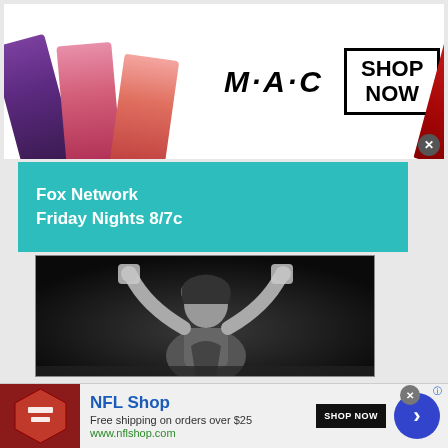[Figure (illustration): MAC Cosmetics advertisement banner showing colorful lipsticks on left side, MAC logo in center italic lettering with dots, a 'SHOP NOW' box with bold black border, and a red lipstick on far right. White background. Close button (x) in bottom right corner.]
Fox Network
Friday Nights 8/7c
[Figure (photo): Black and white photograph of a female wrestler (Sasha Banks / WWE performer) with arms raised above head making a gesture, wearing ring attire with gloves and goggles/accessories on head. Bordered by a thin rectangle frame overlay.]
[Figure (illustration): NFL Shop advertisement. Shows a dark red NFL shield logo on the left, bold blue text 'NFL Shop', smaller text 'Free shipping on orders over $25' and 'www.nflshop.com', a black 'SHOP NOW' button, and a blue circular arrow button on the right. Close button (x) top right.]
NFL Shop
Free shipping on orders over $25
www.nflshop.com